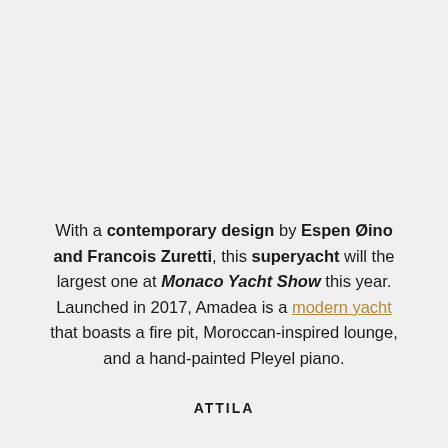With a contemporary design by Espen Øino and Francois Zuretti, this superyacht will the largest one at Monaco Yacht Show this year. Launched in 2017, Amadea is a modern yacht that boasts a fire pit, Moroccan-inspired lounge, and a hand-painted Pleyel piano.
ATTILA